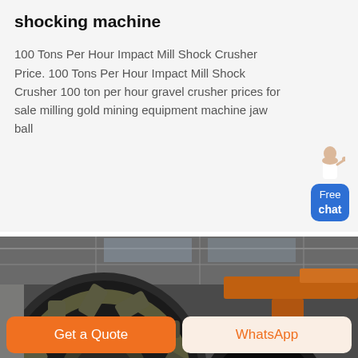shocking machine
100 Tons Per Hour Impact Mill Shock Crusher Price. 100 Tons Per Hour Impact Mill Shock Crusher 100 ton per hour gravel crusher prices for sale milling gold mining equipment machine jaw ball
[Figure (photo): Industrial ball mill / grinding machine in a factory warehouse with large circular wheel visible, overhead crane structure with orange beam in background, green XME logo watermark on image]
Get a Quote
WhatsApp